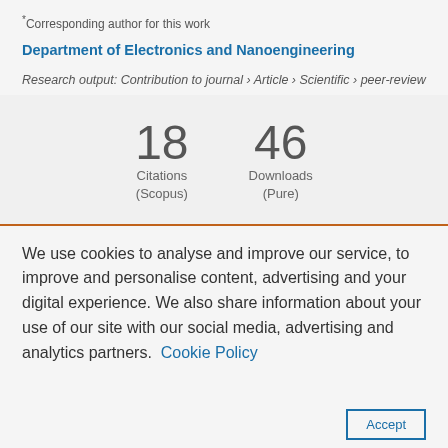*Corresponding author for this work
Department of Electronics and Nanoengineering
Research output: Contribution to journal › Article › Scientific › peer-review
[Figure (infographic): Metrics showing 18 Citations (Scopus) and 46 Downloads (Pure)]
We use cookies to analyse and improve our service, to improve and personalise content, advertising and your digital experience. We also share information about your use of our site with our social media, advertising and analytics partners.  Cookie Policy